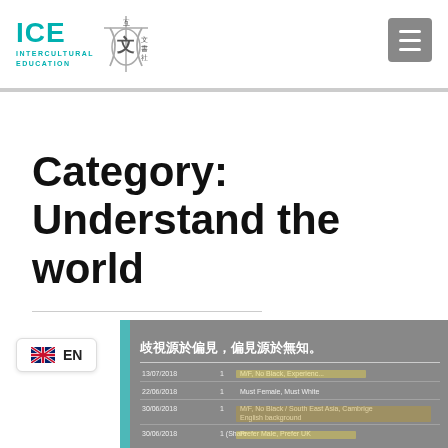[Figure (logo): ICE Intercultural Education logo with teal text and Chinese character symbol]
Category: Understand the world
[Figure (screenshot): A document screenshot with Chinese text '歧視源於偏見，偏見源於無知。' and a table showing dates, numbers, and hiring criteria with highlighted rows including references to race and gender preferences.]
[Figure (logo): UK flag EN language selector badge]